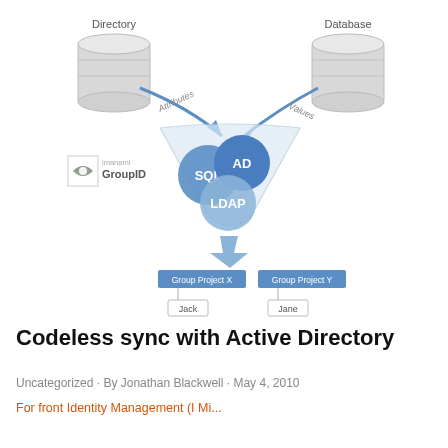[Figure (infographic): Diagram showing Imanami GroupID syncing data from a Directory (with Attributes) and a Database (with Values) through a funnel containing SQL, AD, and LDAP circles, outputting to Group Project X (Jack) and Group Project Y (Jane).]
Codeless sync with Active Directory
Uncategorized · By Jonathan Blackwell · May 4, 2010
For front Identity Management (I Mi...